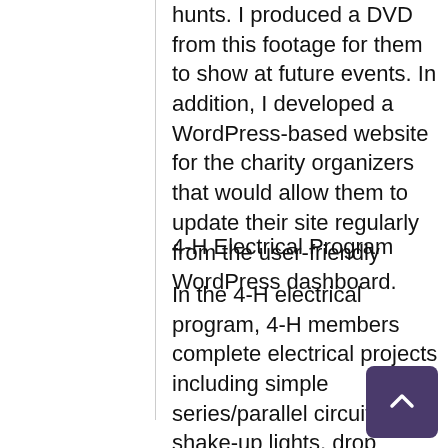hunts. I produced a DVD from this footage for them to show at future events. In addition, I developed a WordPress-based website for the charity organizers that would allow them to update their site regularly from the user-friendly WordPress dashboard.
4-H Electrical Program
In the 4-H electrical program, 4-H members complete electrical projects including simple series/parallel circuits, shake-up lights, drop lights, and lamps. These projects provide the learners with the opportunity to learn about electricity and electrical safety.  In my capacity as an advisor, I worked with the learners in the months leading up to the fair to ensure they were prepared for the event.  During the week of the fair, I worked with the